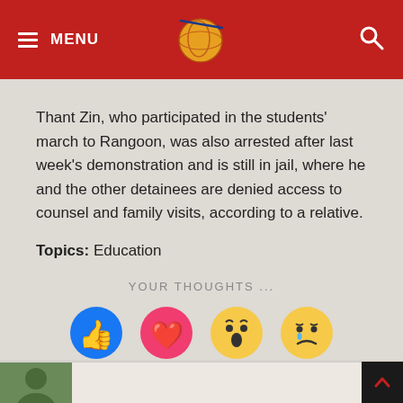MENU [logo] [search]
Thant Zin, who participated in the students’ march to Rangoon, was also arrested after last week’s demonstration and is still in jail, where he and the other detainees are denied access to counsel and family visits, according to a relative.
Topics: Education
YOUR THOUGHTS ...
[Figure (infographic): Four Facebook reaction emoji buttons: thumbs up (blue), heart (red/pink), wow face (yellow), sad face (yellow)]
[avatar image] [scroll to top button]